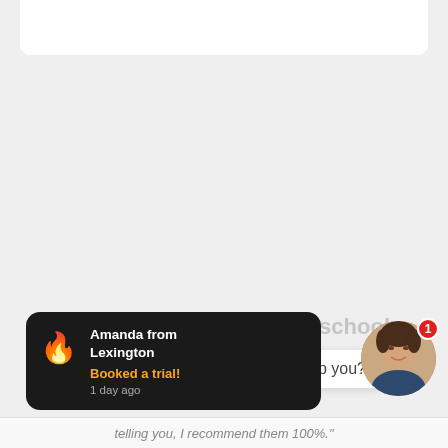[Figure (screenshot): App screenshot showing a notification popup over a light gray background. The notification reads 'Amanda from Lexington — Booked a trial! — 1 day ago' with a fire emoji icon. In the bottom right there is a chat bubble partially visible with text 'this school' and 'elp you?' and a woman's profile photo avatar with a red badge showing '1'. Large quotation marks appear mid-page in gray. A partial white card is at the top. Bottom text reads 'telling you, I recommend them 100%.']
Amanda from Lexington
Booked a trial!
1 day ago
telling you, I recommend them 100%."